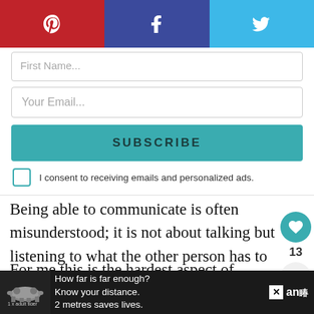[Figure (screenshot): Social share bar with Pinterest (red), Facebook (dark blue), Twitter (light blue) icons]
[Figure (screenshot): Email subscription form with First Name field, Your Email field, SUBSCRIBE button, and consent checkbox]
Being able to communicate is often misunderstood; it is not about talking but listening to what the other person has to say.
For me this is the hardest aspect of anything,
[Figure (screenshot): Bottom advertisement bar: tiger illustration with '1 x adult tiger', text 'How far is far enough? Know your distance. 2 metres saves lives.' with close button and logo]